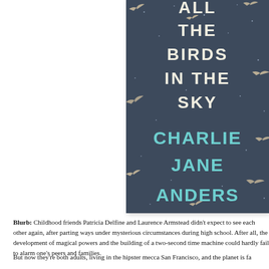[Figure (illustration): Book cover of 'All The Birds In The Sky' by Charlie Jane Anders. Dark blue-grey background with swallows/swifts flying across the cover. White bold text reads 'ALL THE BIRDS IN THE SKY' and teal/cyan text reads 'CHARLIE JANE ANDERS'.]
Blurb: Childhood friends Patricia Delfine and Laurence Armstead didn't expect to see each other again, after parting ways under mysterious circumstances during high school. After all, the development of magical powers and the building of a two-second time machine could hardly fail to alarm one's peers and families.
But now they're both adults, living in the hipster mecca San Francisco, and the planet is fa...